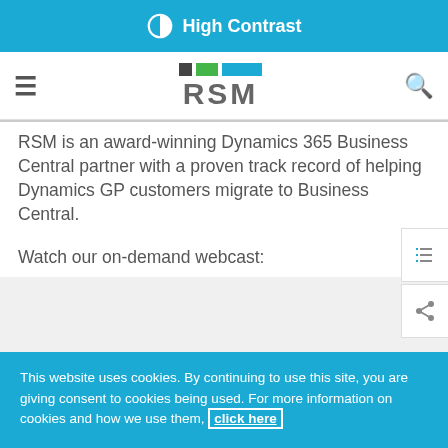High Contrast
[Figure (logo): RSM logo with colored squares and RSM text]
RSM is an award-winning Dynamics 365 Business Central partner with a proven track record of helping Dynamics GP customers migrate to Business Central.
Watch our on-demand webcast:
This website uses cookies. By continuing to use this site, you are giving consent to cookies being used. For more information on cookies and how we use them, click here